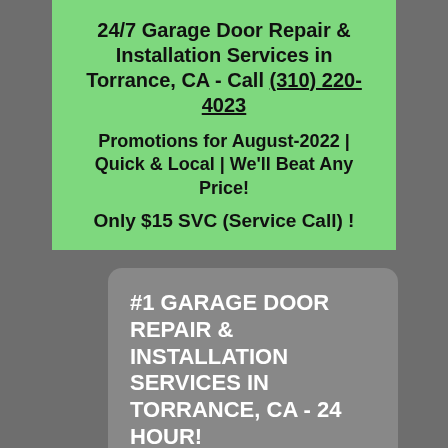24/7 Garage Door Repair & Installation Services in Torrance, CA - Call (310) 220-4023
Promotions for August-2022 | Quick & Local | We'll Beat Any Price!
Only $15 SVC (Service Call) !
#1 GARAGE DOOR REPAIR & INSTALLATION SERVICES IN TORRANCE, CA - 24 HOUR!
Call (310) 220-4023 to get the best